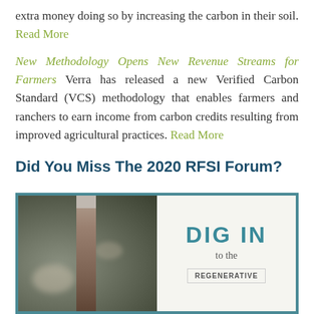extra money doing so by increasing the carbon in their soil. Read More
New Methodology Opens New Revenue Streams for Farmers Verra has released a new Verified Carbon Standard (VCS) methodology that enables farmers and ranchers to earn income from carbon credits resulting from improved agricultural practices. Read More
Did You Miss The 2020 RFSI Forum?
[Figure (photo): A promotional image with a split layout: left side shows a blurred close-up photo of a wooden stake or post in soil/ground, right side shows white background with teal bold text 'DIG IN', smaller text 'to the', and a bordered box with text 'REGENERATIVE' partially visible at bottom.]